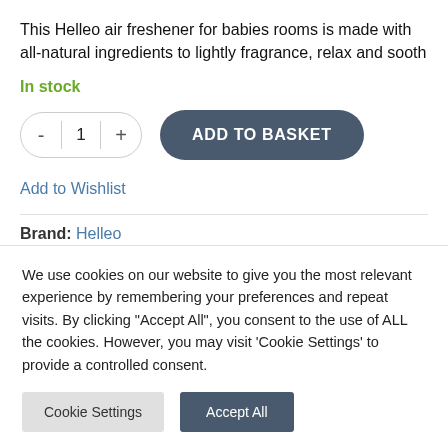This Helleo air freshener for babies rooms is made with all-natural ingredients to lightly fragrance, relax and sooth
In stock
- 1 + ADD TO BASKET
Add to Wishlist
Brand: Helleo
We use cookies on our website to give you the most relevant experience by remembering your preferences and repeat visits. By clicking "Accept All", you consent to the use of ALL the cookies. However, you may visit 'Cookie Settings' to provide a controlled consent.
Cookie Settings   Accept All